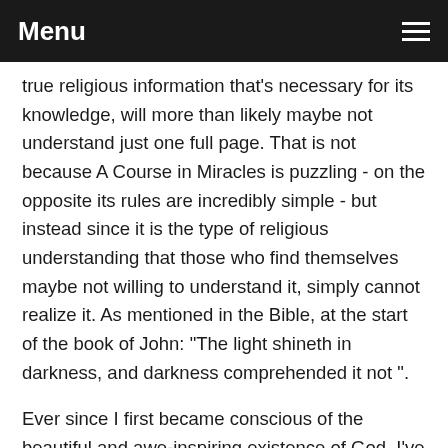Menu
true religious information that's necessary for its knowledge, will more than likely maybe not understand just one full page. That is not because A Course in Miracles is puzzling - on the opposite its rules are incredibly simple - but instead since it is the type of religious understanding that those who find themselves maybe not willing to understand it, simply cannot realize it. As mentioned in the Bible, at the start of the book of John: "The light shineth in darkness, and darkness comprehended it not ".
Ever since I first became conscious of the beautiful and awe-inspiring existence of God, I've enjoyed reading several great spiritual operates just like the Bible (my beloved elements will be the Sermon on the Mount